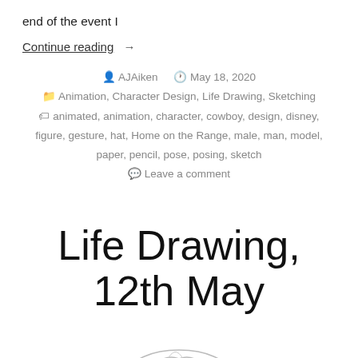end of the event I
Continue reading →
AJAiken   May 18, 2020
Animation, Character Design, Life Drawing, Sketching
animated, animation, character, cowboy, design, disney, figure, gesture, hat, Home on the Range, male, man, model, paper, pencil, pose, posing, sketch
Leave a comment
Life Drawing, 12th May
[Figure (illustration): Partial sketch/drawing visible at bottom of page]